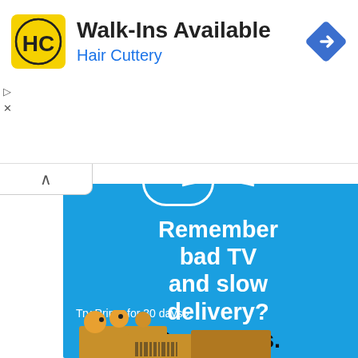[Figure (screenshot): Hair Cuttery advertisement banner with yellow HC logo, title 'Walk-Ins Available', subtitle 'Hair Cuttery' in blue, and a blue navigation/directions diamond icon on the right. Small play and X controls on the left.]
[Figure (screenshot): Amazon Prime advertisement on blue background. Text reads 'Remember bad TV and slow delivery? Dark times.' with 'Try Prime for 30 days ›' link. Bottom shows Amazon delivery boxes with orange bubble wrap packaging.]